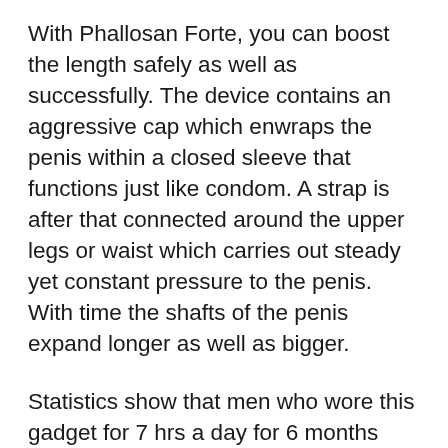With Phallosan Forte, you can boost the length safely as well as successfully. The device contains an aggressive cap which enwraps the penis within a closed sleeve that functions just like condom. A strap is after that connected around the upper legs or waist which carries out steady yet constant pressure to the penis. With time the shafts of the penis expand longer as well as bigger.
Statistics show that men who wore this gadget for 7 hrs a day for 6 months saw 1 inch increase in their penis length. And the outcomes are perpetual. The very best part of utilizing this device is that it has no side effects if you adhere to the producer's guidelines appropriately.